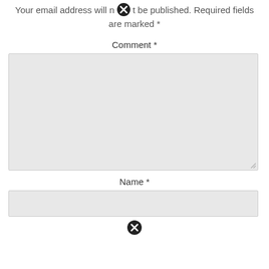Your email address will not be published. Required fields are marked *
Comment *
[Figure (other): Large textarea input field with light gray background and resize handle]
Name *
[Figure (other): Single-line text input field with light gray background]
[Figure (other): Close/cancel icon (black circle with X)]